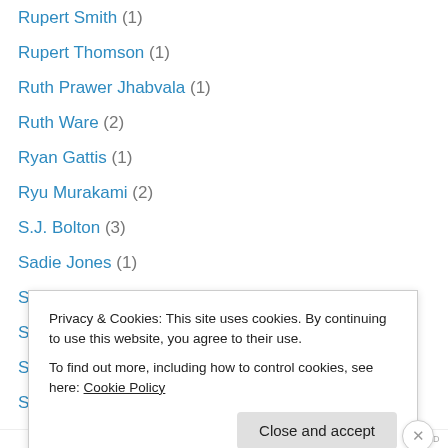Rupert Smith (1)
Rupert Thomson (1)
Ruth Prawer Jhabvala (1)
Ruth Ware (2)
Ryan Gattis (1)
Ryu Murakami (2)
S.J. Bolton (3)
Sadie Jones (1)
Salley Vickers (3)
Sallie Day (2)
Salman Rushdie (9)
Salt Publishing (7)
Sam Byers (1)
Sam Savage (2)
Privacy & Cookies: This site uses cookies. By continuing to use this website, you agree to their use. To find out more, including how to control cookies, see here: Cookie Policy